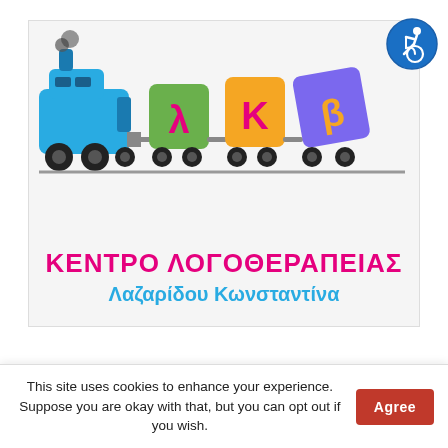[Figure (logo): Logo of speech therapy center: a cartoon train pulling letter blocks λ, K, β, with text ΚΕΝΤΡΟ ΛΟΓΟΘΕΡΑΠΕΙΑΣ / Λαζαρίδου Κωνσταντίνα]
[Figure (logo): Accessibility icon: blue circle with wheelchair user symbol]
This site uses cookies to enhance your experience. Suppose you are okay with that, but you can opt out if you wish.
Agree